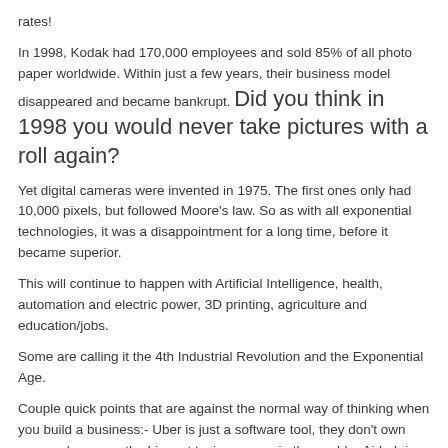rates!
In 1998, Kodak had 170,000 employees and sold 85% of all photo paper worldwide. Within just a few years, their business model disappeared and became bankrupt. Did you think in 1998 you would never take pictures with a roll again?
Yet digital cameras were invented in 1975. The first ones only had 10,000 pixels, but followed Moore's law. So as with all exponential technologies, it was a disappointment for a long time, before it became superior.
This will continue to happen with Artificial Intelligence, health, automation and electric power, 3D printing, agriculture and education/jobs.
Some are calling it the 4th Industrial Revolution and the Exponential Age.
Couple quick points that are against the normal way of thinking when you build a business:- Uber is just a software tool, they don't own cars and are now the biggest taxi company in the world. - Airbnb is now the biggest